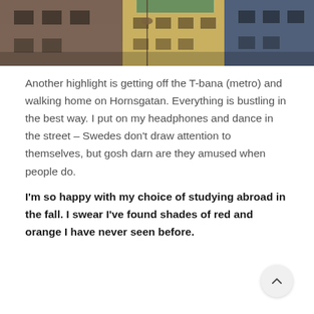[Figure (photo): Street-level photo looking up at European-style buildings in Stockholm, showing warm-toned stone facades, windows, and a glimpse of green copper roof against the sky.]
Another highlight is getting off the T-bana (metro) and walking home on Hornsgatan. Everything is bustling in the best way. I put on my headphones and dance in the street – Swedes don't draw attention to themselves, but gosh darn are they amused when people do.
I'm so happy with my choice of studying abroad in the fall. I swear I've found shades of red and orange I have never seen before.